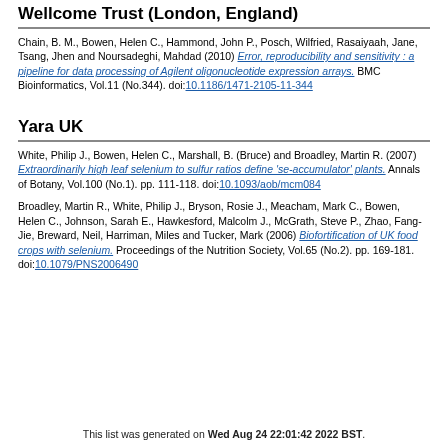Wellcome Trust (London, England)
Chain, B. M., Bowen, Helen C., Hammond, John P., Posch, Wilfried, Rasaiyaah, Jane, Tsang, Jhen and Noursadeghi, Mahdad (2010) Error, reproducibility and sensitivity : a pipeline for data processing of Agilent oligonucleotide expression arrays. BMC Bioinformatics, Vol.11 (No.344). doi:10.1186/1471-2105-11-344
Yara UK
White, Philip J., Bowen, Helen C., Marshall, B. (Bruce) and Broadley, Martin R. (2007) Extraordinarily high leaf selenium to sulfur ratios define 'se-accumulator' plants. Annals of Botany, Vol.100 (No.1). pp. 111-118. doi:10.1093/aob/mcm084
Broadley, Martin R., White, Philip J., Bryson, Rosie J., Meacham, Mark C., Bowen, Helen C., Johnson, Sarah E., Hawkesford, Malcolm J., McGrath, Steve P., Zhao, Fang-Jie, Breward, Neil, Harriman, Miles and Tucker, Mark (2006) Biofortification of UK food crops with selenium. Proceedings of the Nutrition Society, Vol.65 (No.2). pp. 169-181. doi:10.1079/PNS2006490
This list was generated on Wed Aug 24 22:01:42 2022 BST.